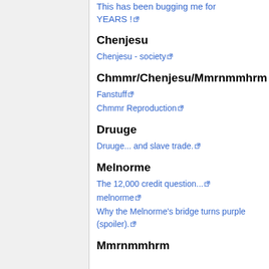This has been bugging me for YEARS !
Chenjesu
Chenjesu - society
Chmmr/Chenjesu/Mmrnmmhrm
Fanstuff
Chmmr Reproduction
Druuge
Druuge... and slave trade.
Melnorme
The 12,000 credit question...
melnorme
Why the Melnorme's bridge turns purple (spoiler).
Mmrnmmhrm